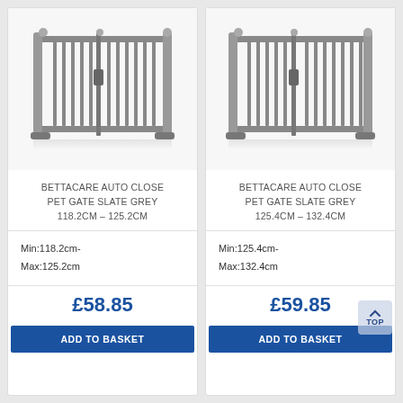[Figure (photo): Bettacare Auto Close Pet Gate in Slate Grey, 118.2cm-125.2cm width]
BETTACARE AUTO CLOSE PET GATE SLATE GREY 118.2CM – 125.2CM
Min:118.2cm-
Max:125.2cm
£58.85
ADD TO BASKET
[Figure (photo): Bettacare Auto Close Pet Gate in Slate Grey, 125.4cm-132.4cm width]
BETTACARE AUTO CLOSE PET GATE SLATE GREY 125.4CM – 132.4CM
Min:125.4cm-
Max:132.4cm
£59.85
ADD TO BASKET